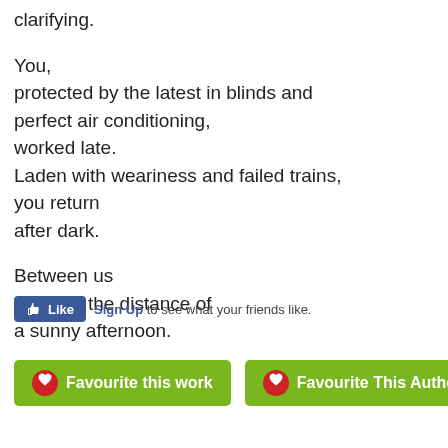clarifying.

You,
protected by the latest in blinds and
perfect air conditioning,
worked late.
Laden with weariness and failed trains,
you return
after dark.

Between us
lies only the distance of
a sunny afternoon.
[Figure (screenshot): Facebook Like button with Sign Up link and text 'to see what your friends like.']
[Figure (screenshot): Two green buttons: 'Favourite this work' and 'Favourite This Author', each with a red heart icon on the left.]